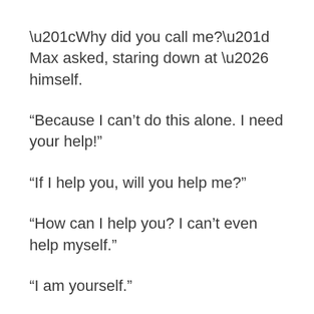“Why did you call me?” Max asked, staring down at … himself.
“Because I can’t do this alone. I need your help!”
“If I help you, will you help me?”
“How can I help you? I can’t even help myself.”
“I am yourself.”
“But—”
“Max, we need to talk. But not right now. Allow me to give you something that can help … bring us together. I